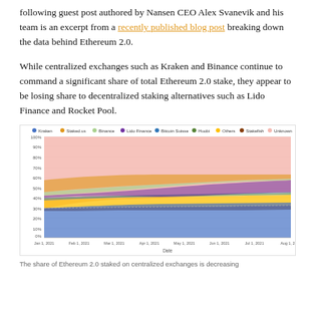following guest post authored by Nansen CEO Alex Svanevik and his team is an excerpt from a recently published blog post breaking down the data behind Ethereum 2.0.
While centralized exchanges such as Kraken and Binance continue to command a significant share of total Ethereum 2.0 stake, they appear to be losing share to decentralized staking alternatives such as Lido Finance and Rocket Pool.
[Figure (area-chart): Stacked area chart showing share of Ethereum 2.0 stake by entity from Jan 2021 to Aug 2021. Unknown (pink/salmon) dominates the top, with Kraken, Staked.us, Binance, Lido Finance and others making up distinct bands below.]
The share of Ethereum 2.0 staked on centralized exchanges is decreasing